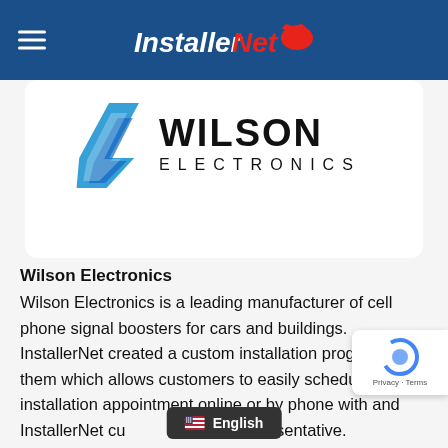InstallerNet
[Figure (logo): Wilson Electronics logo — blue lightning bolt chevron icon with 'WILSON ELECTRONICS' text in black]
Wilson Electronics
Wilson Electronics is a leading manufacturer of cell phone signal boosters for cars and buildings. InstallerNet created a custom installation program for them which allows customers to easily schedule an installation appointment online or by phone with and InstallerNet customer service representative.